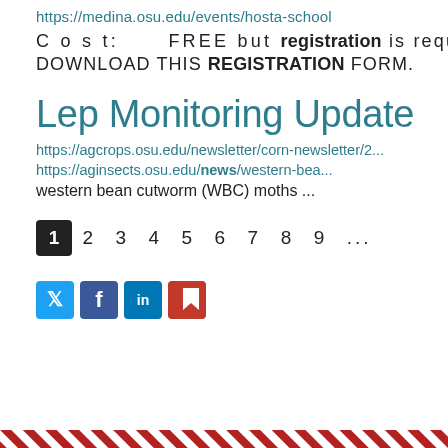https://medina.osu.edu/events/hosta-school
Cost:       FREE but registration is required (
DOWNLOAD THIS REGISTRATION FORM.
Lep Monitoring Update
https://agcrops.osu.edu/newsletter/corn-newsletter/2...
https://aginsects.osu.edu/news/western-bea...
western bean cutworm (WBC) moths ...
1 2 3 4 5 6 7 8 9 ...
[Figure (other): Social sharing icons: Twitter, Facebook, LinkedIn, Bookmark]
Red diagonal stripe footer bar